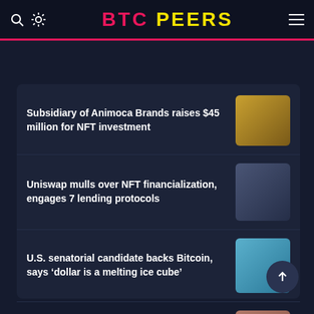BTC PEERS
Subsidiary of Animoca Brands raises $45 million for NFT investment
Uniswap mulls over NFT financialization, engages 7 lending protocols
U.S. senatorial candidate backs Bitcoin, says ‘dollar is a melting ice cube’
M&M’s unveils Bored Ape NFT-Inspired candy collection